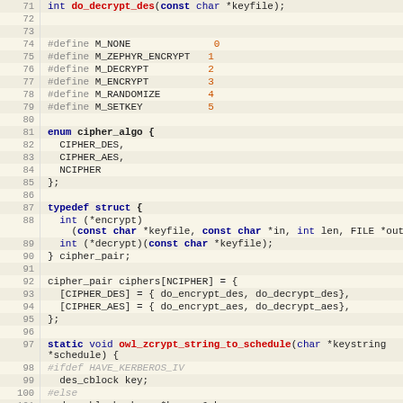[Figure (screenshot): Source code listing in C showing lines 71-101, including function declarations, preprocessor defines, enum, typedef struct, and static function definition for cipher/encryption utilities.]